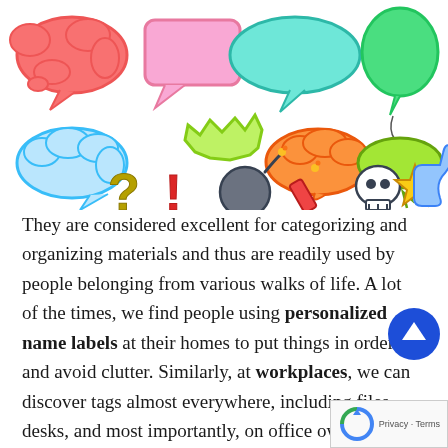[Figure (illustration): Colorful cartoon speech bubbles, thought bubbles, and emoji-style icons including a question mark, exclamation mark, bomb, firecracker, skull, star, and thumbs up on a white background.]
They are considered excellent for categorizing and organizing materials and thus are readily used by people belonging from various walks of life. A lot of the times, we find people using personalized name labels at their homes to put things in order and avoid clutter. Similarly, at workplaces, we can discover tags almost everywhere, including files, desks, and most importantly, on office owned stationery items well as hardware provided to workers and